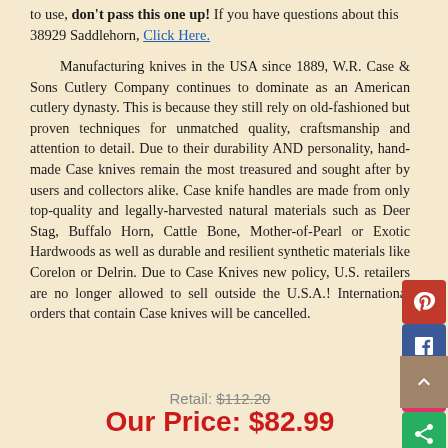to use, don't pass this one up! If you have questions about this 38929 Saddlehorn, Click Here.
Manufacturing knives in the USA since 1889, W.R. Case & Sons Cutlery Company continues to dominate as an American cutlery dynasty. This is because they still rely on old-fashioned but proven techniques for unmatched quality, craftsmanship and attention to detail. Due to their durability AND personality, hand-made Case knives remain the most treasured and sought after by users and collectors alike. Case knife handles are made from only top-quality and legally-harvested natural materials such as Deer Stag, Buffalo Horn, Cattle Bone, Mother-of-Pearl or Exotic Hardwoods as well as durable and resilient synthetic materials like Corelon or Delrin. Due to Case Knives new policy, U.S. retailers are no longer allowed to sell outside the U.S.A.! International orders that contain Case knives will be cancelled.
Retail: $112.20
Our Price: $82.99